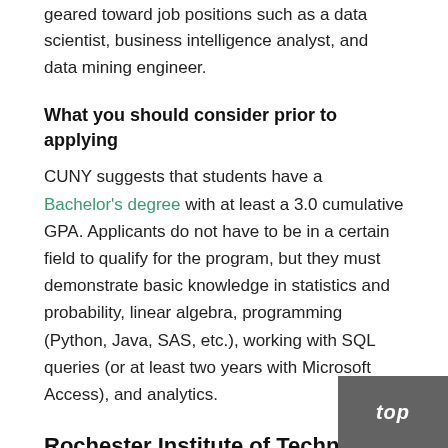geared toward job positions such as a data scientist, business intelligence analyst, and data mining engineer.
What you should consider prior to applying
CUNY suggests that students have a Bachelor's degree with at least a 3.0 cumulative GPA. Applicants do not have to be in a certain field to qualify for the program, but they must demonstrate basic knowledge in statistics and probability, linear algebra, programming (Python, Java, SAS, etc.), working with SQL queries (or at least two years with Microsoft Access), and analytics.
Rochester Institute of Technology
A Master of Science in Data Science can be obtained